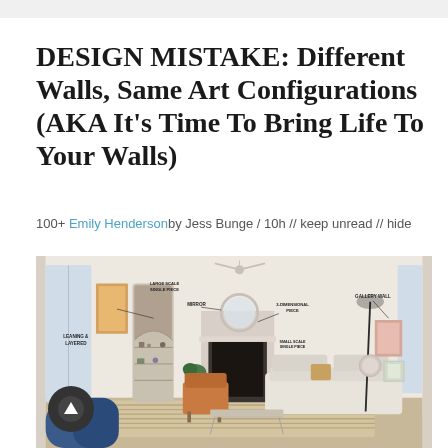DESIGN MISTAKE: Different Walls, Same Art Configurations (AKA It’s Time To Bring Life To Your Walls)
100+ Emily Henderson by Jess Bunge / 10h // keep unread // hide
[Figure (photo): Interior living room photo annotated with labels pointing to different wall art configurations: 'LEANING & LAYERED' on far left, 'LARGE SCALE SINGLE PIECE' on left wall, 'MIRROR' above fireplace area, '3-DIMENSIONAL PIECE' above fireplace mantel, 'SMALL SCALE SINGLE PIECE' on center wall, 'GALLERY WALL' on right wall. Room features white walls, a fireplace, sofa, armchairs, plants, and a striped rug.]